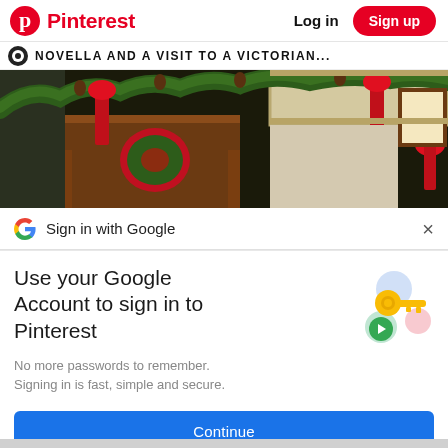Pinterest  Log in  Sign up
NOVELLA AND A VISIT TO A VICTORIAN...
[Figure (photo): Victorian Christmas mantel decorated with green garland, red ribbons, holly, and berries in a dark wood-paneled room]
Sign in with Google
Use your Google Account to sign in to Pinterest
No more passwords to remember. Signing in is fast, simple and secure.
[Figure (illustration): Google key illustration with colorful circles]
Continue